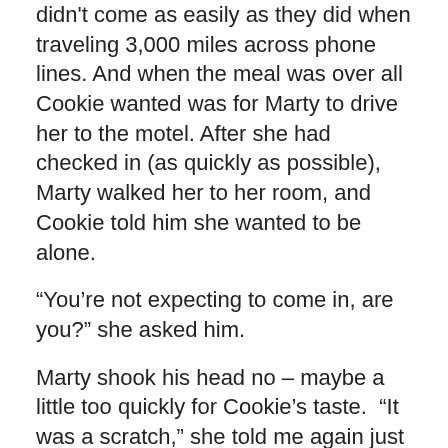didn't come as easily as they did when traveling 3,000 miles across phone lines. And when the meal was over all Cookie wanted was for Marty to drive her to the motel. After she had checked in (as quickly as possible), Marty walked her to her room, and Cookie told him she wanted to be alone.
“You’re not expecting to come in, are you?” she asked him.
Marty shook his head no – maybe a little too quickly for Cookie’s taste.  “It was a scratch,” she told me again just in case I hadn’t heard her the first time.
“You need your rest,” Marty told her, and Cookie agreed.
“Maybe it’ll be better tomorrow?” I suggest to her.
“It couldn’t be any worse.”